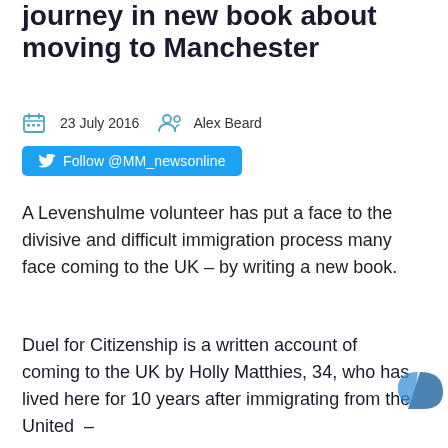journey in new book about moving to Manchester
23 July 2016   Alex Beard
Follow @MM_newsonline
A Levenshulme volunteer has put a face to the divisive and difficult immigration process many face coming to the UK – by writing a new book.
Duel for Citizenship is a written account of coming to the UK by Holly Matthies, 34, who has lived here for 10 years after immigrating from the United –